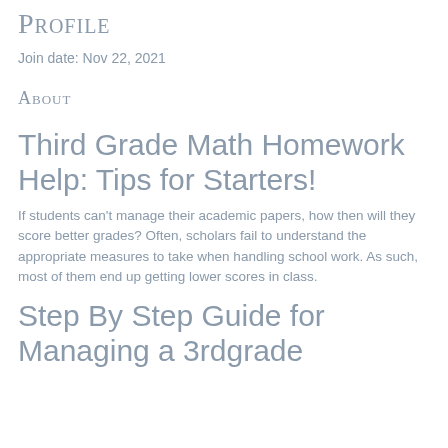Profile
Join date: Nov 22, 2021
About
Third Grade Math Homework Help: Tips for Starters!
If students can't manage their academic papers, how then will they score better grades? Often, scholars fail to understand the appropriate measures to take when handling school work. As such, most of them end up getting lower scores in class.
Step By Step Guide for Managing a 3rdgrade